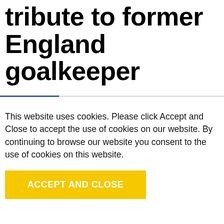tribute to former England goalkeeper
This website uses cookies. Please click Accept and Close to accept the use of cookies on our website. By continuing to browse our website you consent to the use of cookies on this website.
ACCEPT AND CLOSE